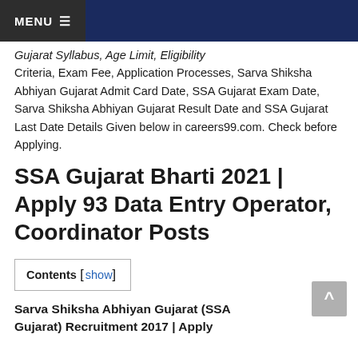MENU
Gujarat Syllabus, Age Limit, Eligibility Criteria, Exam Fee, Application Processes, Sarva Shiksha Abhiyan Gujarat Admit Card Date, SSA Gujarat Exam Date, Sarva Shiksha Abhiyan Gujarat Result Date and SSA Gujarat Last Date Details Given below in careers99.com. Check before Applying.
SSA Gujarat Bharti 2021 | Apply 93 Data Entry Operator, Coordinator Posts
Contents [show]
Sarva Shiksha Abhiyan Gujarat (SSA Gujarat) Recruitment 2017 | Apply